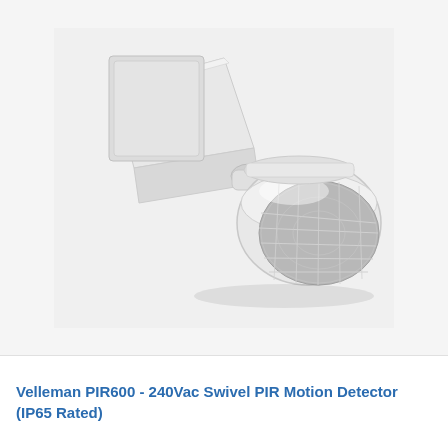[Figure (photo): White Velleman PIR600 swivel PIR motion detector with wall-mount bracket and Fresnel lens sensor head. The device is white plastic with a rounded dome-shaped sensor head featuring a segmented grey Fresnel lens, mounted on a wedge-shaped wall bracket. The sensor head can swivel/tilt. Background is light grey.]
Velleman PIR600 - 240Vac Swivel PIR Motion Detector (IP65 Rated)